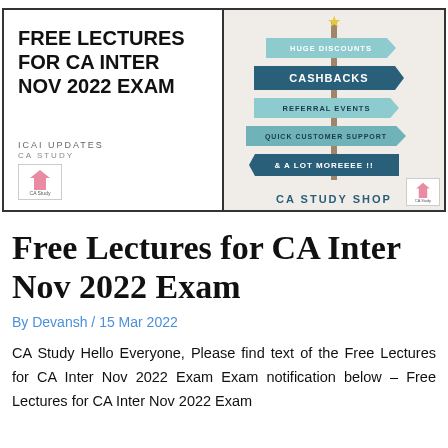[Figure (illustration): Two-panel banner image. Left panel: white background with bold text 'FREE LECTURES FOR CA INTER NOV 2022 EXAM', ICAI UPDATES, CA STUDY text, and CA Study logo. Right panel: beige background with directional signs on a pole reading HUGE DISCOUNTS, CASHBACKS, REFERRAL EVENTS, QUICK CUSTOMER SUPPORT, & A LOT MOREEEE !!, and 'CA STUDY SHOP' text at bottom with logo.]
Free Lectures for CA Inter Nov 2022 Exam
By Devansh / 15 Mar 2022
CA Study Hello Everyone, Please find text of the Free Lectures for CA Inter Nov 2022 Exam Exam notification below – Free Lectures for CA Inter Nov 2022 Exam